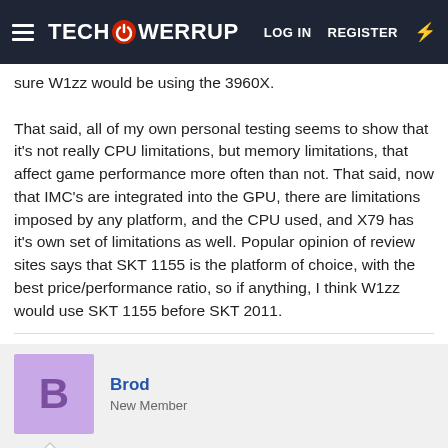TechPowerUp — LOG IN  REGISTER
sure W1zz would be using the 3960X.

That said, all of my own personal testing seems to show that it's not really CPU limitations, but memory limitations, that affect game performance more often than not. That said, now that IMC's are integrated into the GPU, there are limitations imposed by any platform, and the CPU used, and X79 has it's own set of limitations as well. Popular opinion of review sites says that SKT 1155 is the platform of choice, with the best price/performance ratio, so if anything, I think W1zz would use SKT 1155 before SKT 2011.
Brod
New Member
Feb 24, 2012  #47
What users can afford is beside the point. The purpose of a GPU review is to show readers what the GPU is capable of.